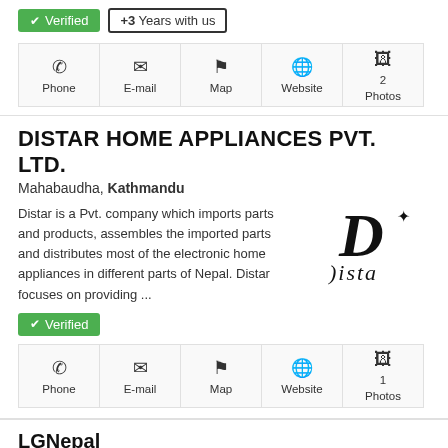[Figure (infographic): Verified badge (green) and '+3 Years with us' badge, plus contact icons row: Phone, E-mail, Map, Website, 2 Photos]
DISTAR HOME APPLIANCES PVT. LTD.
Mahabaudha, Kathmandu
Distar is a Pvt. company which imports parts and products, assembles the imported parts and distributes most of the electronic home appliances in different parts of Nepal. Distar focuses on providing ...
[Figure (logo): Distar logo with stylized D and 'Dista' text]
[Figure (infographic): Verified badge (green) and contact icons row: Phone, E-mail, Map, Website, 1 Photos]
LGNepal
CG Digital Park Chandragiri Nagarpalika,, Ward No 10/11 Satungal, Kathmandu, Nepal, Kathmandu